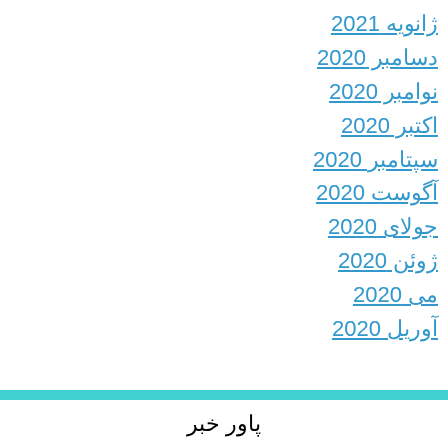ژانویه 2021
دسامبر 2020
نوامبر 2020
اکتبر 2020
سپتامبر 2020
آگوست 2020
جولای 2020
ژوئن 2020
می 2020
آوریل 2020
پاور خبر